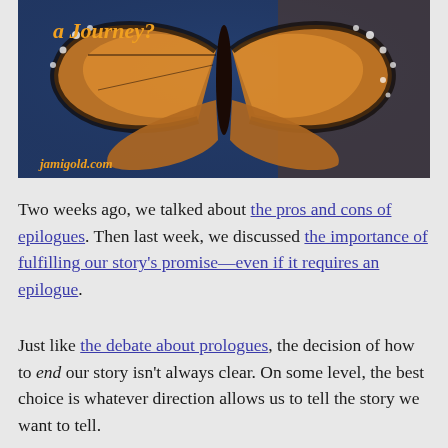[Figure (photo): Photo of a decorative butterfly sculpture (appears to be stained glass or mosaic) with monarch butterfly wing patterns in orange, black and white, displayed against a blue background. Text 'jamigold.com' appears in the lower left corner. Partial text 'a Journey?' visible at top in orange script.]
Two weeks ago, we talked about the pros and cons of epilogues. Then last week, we discussed the importance of fulfilling our story's promise—even if it requires an epilogue.
Just like the debate about prologues, the decision of how to end our story isn't always clear. On some level, the best choice is whatever direction allows us to tell the story we want to tell.